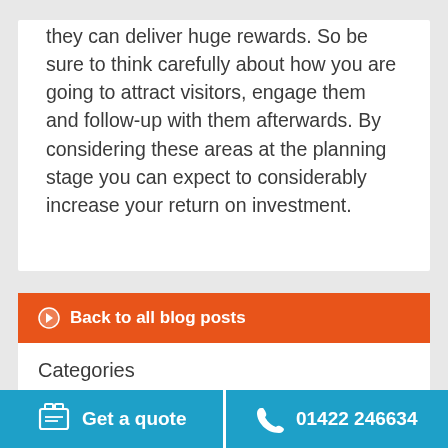they can deliver huge rewards. So be sure to think carefully about how you are going to attract visitors, engage them and follow-up with them afterwards. By considering these areas at the planning stage you can expect to considerably increase your return on investment.
Back to all blog posts
Categories
Case studies
Guide
Get a quote   01422 246634